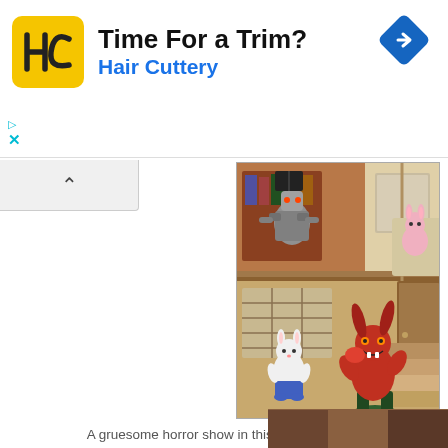[Figure (infographic): Hair Cuttery advertisement banner with yellow square logo showing 'HC', text 'Time For a Trim?' in bold black and 'Hair Cuttery' in blue, with a blue diamond navigation arrow icon on the right, and small cyan triangle/X markers on the lower left.]
[Figure (photo): A dollhouse scene showing figurines of small animal characters (white mouse/bunny in blue clothes) and a monster/demon figurine with red body in the lower floor, and a metallic robot/armor figure with a book on the upper floor along with a pink bunny figurine. The house has wooden floors and Japanese-style windows.]
A gruesome horror show in this mouse house.
[Figure (photo): Partial view of another photo at the bottom right corner, showing a brown/dark blurred surface.]